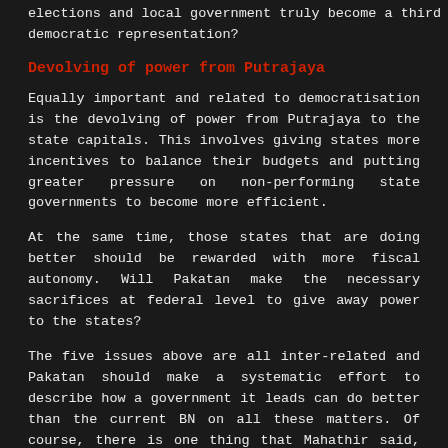elections and local government truly become a third level of democratic representation?
Devolving of power from Putrajaya
Equally important and related to democratisation is the devolving of power from Putrajaya to the state capitals. This involves giving states more incentives to balance their budgets and putting greater pressure on non-performing state governments to become more efficient.
At the same time, those states that are doing better should be rewarded with more fiscal autonomy. Will Pakatan make the necessary sacrifices at federal level to give away power to the states?
The five issues above are all inter-related and Pakatan should make a systematic effort to describe how a government it leads can do better than the current BN on all these matters. Of course, there is one thing that Mahathir said, which may be true – if Pakatan comes to power, the BN may never recover.
This is not so much because Pakatan will use its authority to crush the BN, but because the BN is a coalition of convenience. Once